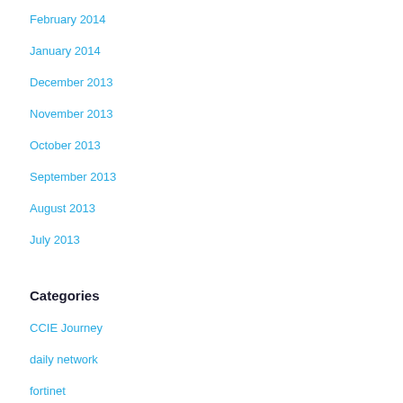February 2014
January 2014
December 2013
November 2013
October 2013
September 2013
August 2013
July 2013
Categories
CCIE Journey
daily network
fortinet